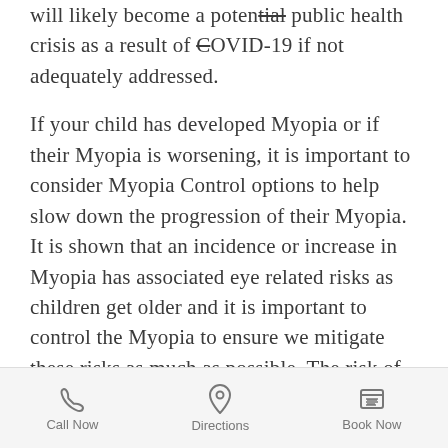will likely become a potential public health crisis as a result of COVID-19 if not adequately addressed.
If your child has developed Myopia or if their Myopia is worsening, it is important to consider Myopia Control options to help slow down the progression of their Myopia. It is shown that an incidence or increase in Myopia has associated eye related risks as children get older and it is important to control the Myopia to ensure we mitigate these risks as much as possible. The risk of Myopia progression for children also
Call Now | Directions | Book Now